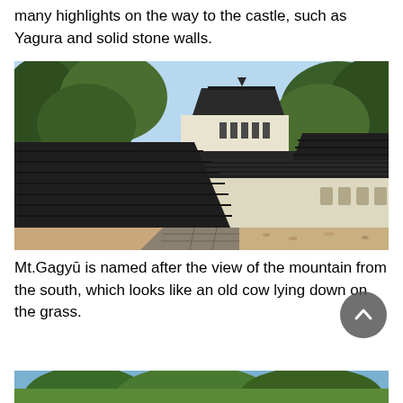many highlights on the way to the castle, such as Yagura and solid stone walls.
[Figure (photo): Photograph of a Japanese castle structure with traditional tiled roofs, white plaster walls, and surrounding green trees under a blue sky. Shows castle keep in background and defensive walls in foreground.]
Mt.Gagyū is named after the view of the mountain from the south, which looks like an old cow lying down on the grass.
[Figure (photo): Bottom portion of a photograph showing trees and sky, partially visible at the bottom of the page.]